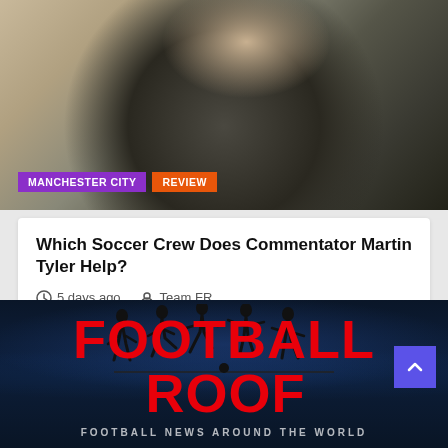[Figure (photo): Man in dark blazer and black turtleneck with hand on chin, thoughtful pose against light background]
MANCHESTER CITY
REVIEW
Which Soccer Crew Does Commentator Martin Tyler Help?
5 days ago  Team FR
[Figure (logo): Football Roof logo with player silhouettes above red bold text FOOTBALL ROOF and tagline FOOTBALL NEWS AROUND THE WORLD on dark stadium background]